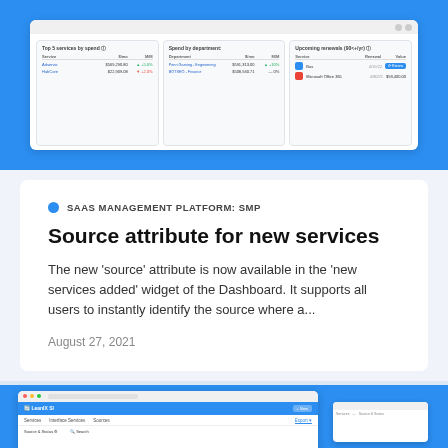[Figure (screenshot): Dashboard screenshot showing 'Top 5 services by spend', 'Spend by department', and 'Upcoming renewals' panels on a blue background]
SAAS MANAGEMENT PLATFORM: SMP
Source attribute for new services
The new 'source' attribute is now available in the 'new services added' widget of the Dashboard. It supports all users to instantly identify the source where a...
August 27, 2021
[Figure (screenshot): Screenshot of a SaaS management platform interface showing navigation and content panels on a blue background]